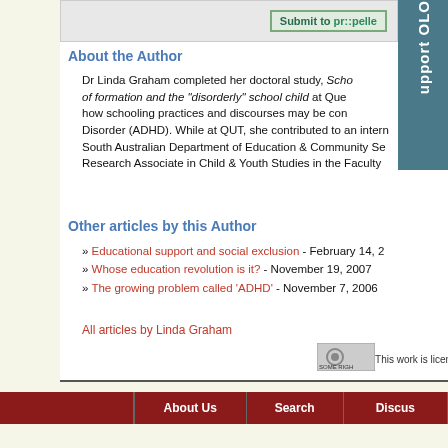[Figure (screenshot): Submit to Propeller button bar at top of page]
About the Author
Dr Linda Graham completed her doctoral study, Scho... of formation and the "disorderly" school child at Que... how schooling practices and discourses may be con... Disorder (ADHD). While at QUT, she contributed to an intern... South Australian Department of Education & Community Se... Research Associate in Child & Youth Studies in the Faculty
Other articles by this Author
» Educational support and social exclusion - February 14, 2...
» Whose education revolution is it? - November 19, 2007
» The growing problem called 'ADHD' - November 7, 2006
All articles by Linda Graham
This work is licensed under a
About Us   Search   Discus...